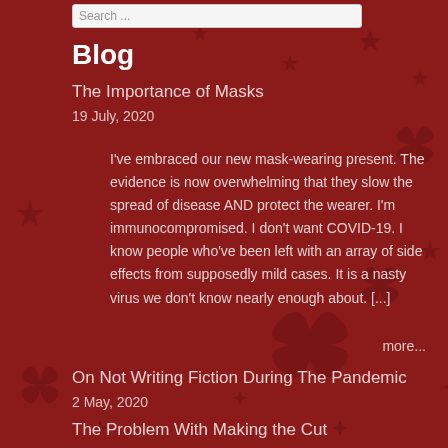Search ...
Blog
The Importance of Masks
19 July, 2020
I've embraced our new mask-wearing present. The evidence is now overwhelming that they slow the spread of disease AND protect the wearer. I'm immunocompromised. I don't want COVID-19. I know people who've been left with an array of side effects from supposedly mild cases. It is a nasty virus we don't know nearly enough about. [...]
more...
On Not Writing Fiction During The Pandemic
2 May, 2020
The Problem With Making the Cut
25 April, 2020
Prescience? Nah.
19 April, 2020